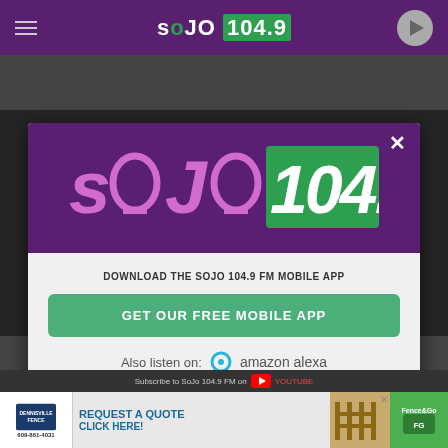[Figure (screenshot): SOJO 104.9 FM radio station website screenshot showing a modal popup dialog with the station logo, a call-to-action to download the mobile app, and an Amazon Alexa listen option. Background shows the station header bar with logo. Bottom shows an ad for Dennisville Fence.]
DOWNLOAD THE SOJO 104.9 FM MOBILE APP
GET OUR FREE MOBILE APP
Also listen on:  amazon alexa